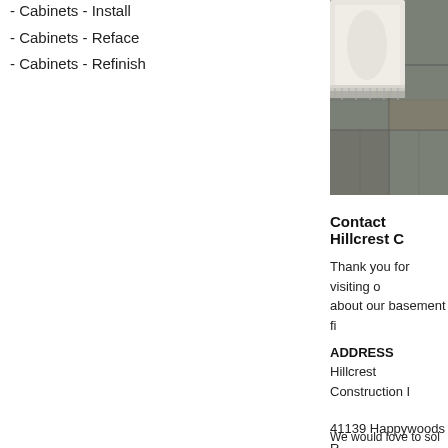- Cabinets - Install
- Cabinets - Reface
- Cabinets - Refinish
[Figure (photo): Photo of bathroom with dark tile floor and white cabinet/furniture piece]
Contact Hillcrest C
Thank you for visiting o about our basement fi
ADDRESS
Hillcrest Construction I
41139 Happywoods R 225-270-1221
We would love to sol